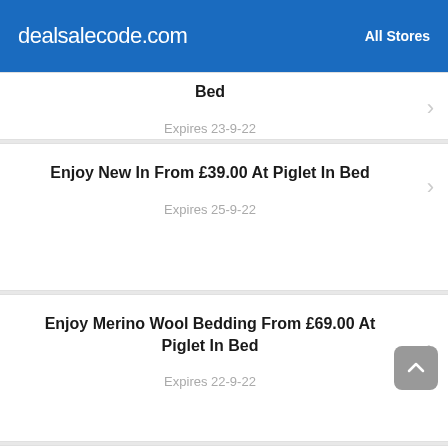dealsalecode.com  All Stores
Bed
Expires 23-9-22
Enjoy New In From £39.00 At Piglet In Bed
Expires 25-9-22
Enjoy Merino Wool Bedding From £69.00 At Piglet In Bed
Expires 22-9-22
Pure Linen Pillowcases As Low As £39.00 At Piglet